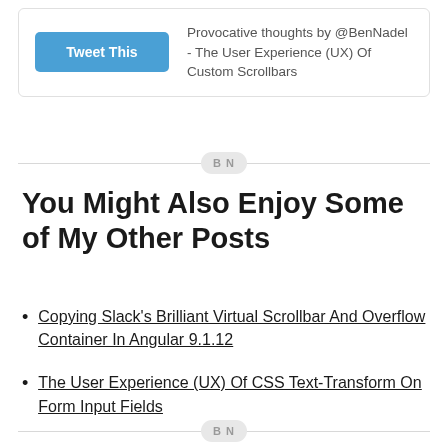[Figure (other): Tweet This button box with text: Provocative thoughts by @BenNadel - The User Experience (UX) Of Custom Scrollbars]
BN
You Might Also Enjoy Some of My Other Posts
Copying Slack's Brilliant Virtual Scrollbar And Overflow Container In Angular 9.1.12
The User Experience (UX) Of CSS Text-Transform On Form Input Fields
BN